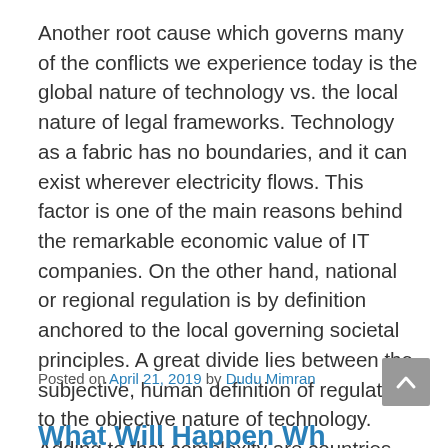Another root cause which governs many of the conflicts we experience today is the global nature of technology vs. the local nature of legal frameworks. Technology as a fabric has no boundaries, and it can exist wherever electricity flows. This factor is one of the main reasons behind the remarkable economic value of IT companies. On the other hand, national or regional regulation is by definition anchored to the local governing societal principles. A great divide lies between the subjective, human definition of regulation to the objective nature of technology. Adding to that complexity are countries that harness technology as a global competitive advantage without the willingness to openly participate under the same shared rules.
Posted on April 21, 2019 by Dudu Mimran
What Will Happen Wh...